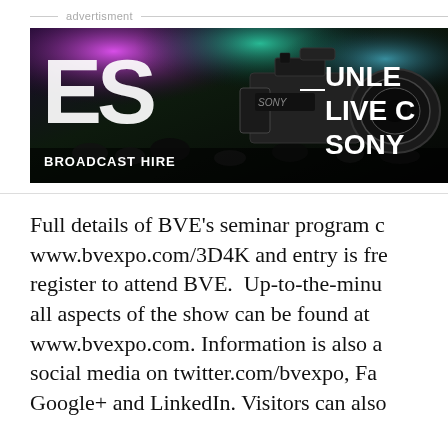advertisment
[Figure (photo): ES Broadcast Hire advertisement banner featuring a Sony professional camera against a colorful concert/event lighting background. Text reads 'ES BROADCAST HIRE' on the left and 'UNLE... LIVE C... SONY' on the right.]
Full details of BVE's seminar program c... www.bvexpo.com/3D4K and entry is fre... register to attend BVE. Up-to-the-minu... all aspects of the show can be found at... www.bvexpo.com. Information is also a... social media on twitter.com/bvexpo, Fa... Google+ and LinkedIn. Visitors can also...